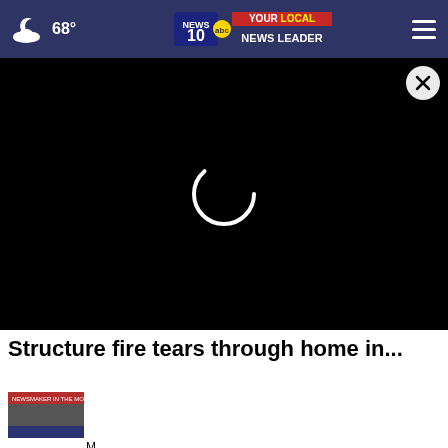68° — NEWS10 YOUR LOCAL NEWS LEADER
[Figure (screenshot): Black video player area with loading spinner (white arc) and close button (X in circle) in top right corner]
Structure fire tears through home in...
[Figure (screenshot): Small thumbnail image showing a news broadcast with red banner text 'NEWSMAKER IN THE MORNING']
M...